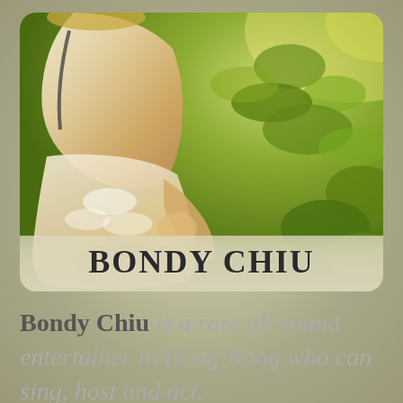[Figure (photo): Photo of Bondy Chiu sitting outdoors in front of green shrubs, wearing a cream/white outfit with a shoulder bag. Name 'BONDY CHIU' overlaid at the bottom of the photo in large bold serif text.]
Bondy Chiu is a rare all-round entertainer in Hong Kong who can sing, host and act.